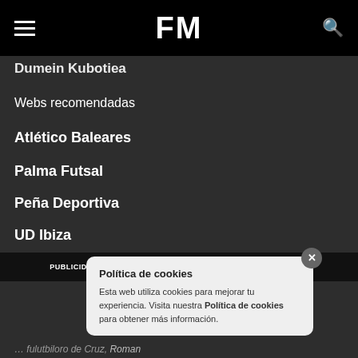FM
Dumein Kubotiea
Webs recomendadas
Atlético Baleares
Palma Futsal
Peña Deportiva
UD Ibiza
RCD Mallorca
PUBLICIDAD   AVISO LEGAL   CONTACTO   QUIENES SOMOS
Política de cookies
Esta web utiliza cookies para mejorar tu experiencia. Visita nuestra Política de cookies para obtener más información.